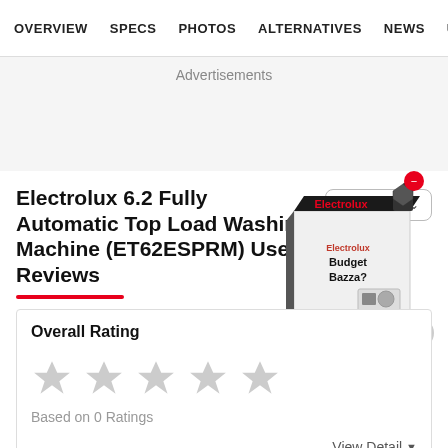OVERVIEW  SPECS  PHOTOS  ALTERNATIVES  NEWS  U
Advertisements
Electrolux 6.2 Fully Automatic Top Load Washing Machine (ET62ESPRM) User Reviews
[Figure (photo): Product box for Electrolux Budget Bazza washing machine with a red circle badge in top right corner]
Overall Rating
Based on 0 Ratings
View Detail